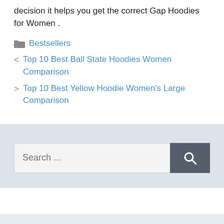decision it helps you get the correct Gap Hoodies for Women .
Bestsellers
< Top 10 Best Ball State Hoodies Women Comparison
> Top 10 Best Yellow Hoodie Women's Large Comparison